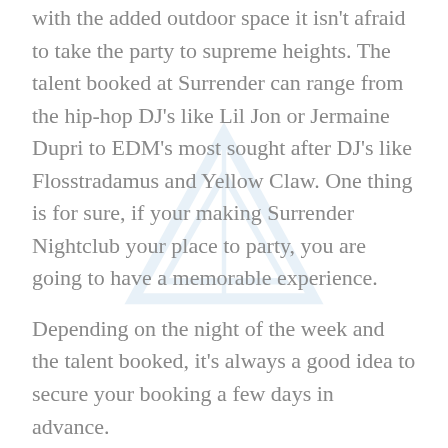with the added outdoor space it isn't afraid to take the party to supreme heights. The talent booked at Surrender can range from the hip-hop DJ's like Lil Jon or Jermaine Dupri to EDM's most sought after DJ's like Flosstradamus and Yellow Claw. One thing is for sure, if your making Surrender Nightclub your place to party, you are going to have a memorable experience.
Depending on the night of the week and the talent booked, it's always a good idea to secure your booking a few days in advance.